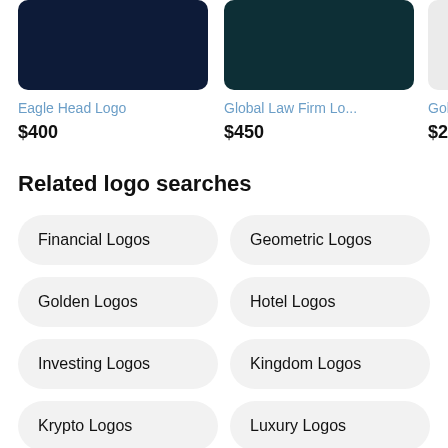[Figure (logo): Eagle Head Logo thumbnail - dark navy blue rectangle]
[Figure (logo): Global Law Firm Logo thumbnail - dark teal rectangle]
[Figure (logo): Gold... logo thumbnail - light gray partial rectangle]
Eagle Head Logo
$400
Global Law Firm Lo...
$450
Gold
$299
Related logo searches
Financial Logos
Geometric Logos
Golden Logos
Hotel Logos
Investing Logos
Kingdom Logos
Krypto Logos
Luxury Logos